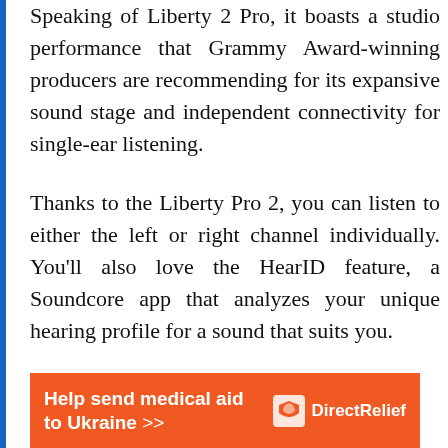Speaking of Liberty 2 Pro, it boasts a studio performance that Grammy Award-winning producers are recommending for its expansive sound stage and independent connectivity for single-ear listening.

Thanks to the Liberty Pro 2, you can listen to either the left or right channel individually. You'll also love the HearID feature, a Soundcore app that analyzes your unique hearing profile for a sound that suits you.
[Figure (infographic): Orange advertisement banner for Direct Relief reading 'Help send medical aid to Ukraine >>' with Direct Relief logo on the right.]